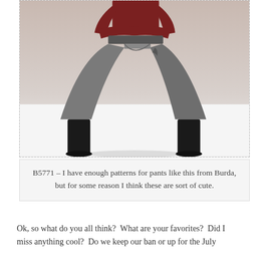[Figure (photo): A person wearing wide-leg grey culottes/gaucho pants with a dark red/maroon sweater and black knee-high boots, photographed from waist down against a white background. The image is bordered with a dashed line.]
B5771 – I have enough patterns for pants like this from Burda, but for some reason I think these are sort of cute.
Ok, so what do you all think?  What are your favorites?  Did I miss anything cool?  Do we keep our ban or up for the July